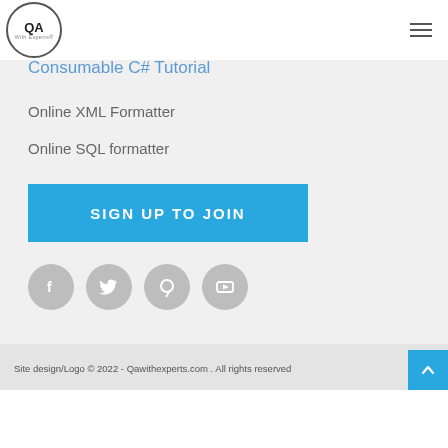QA With Experts
Consumable C# Tutorial
Online XML Formatter
Online SQL formatter
[Figure (other): Blue SIGN UP TO JOIN button]
[Figure (other): Social media icons: Facebook, Twitter, Pinterest, YouTube]
Site design/Logo © 2022 - Qawithexperts.com . All rights reserved